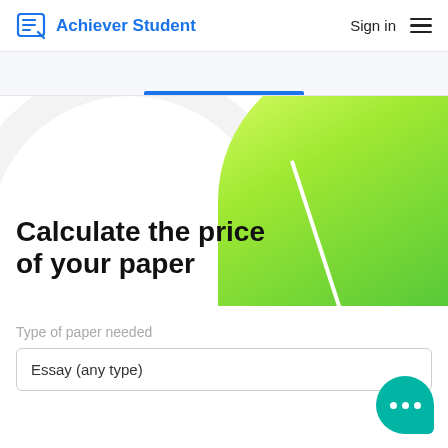Achiever Student — Sign in
[Figure (screenshot): Partial view of a blue underline tab from a previous section]
Calculate the price of your paper
[Figure (illustration): Green gradient semicircle with white needle indicator on the right side, and a large light-gray arc on the left]
Type of paper needed
Essay (any type)
[Figure (illustration): Teal chat bubble with three white dots in the bottom-right corner]